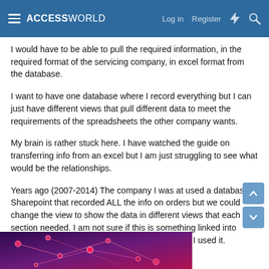ACCESSWORLD — Log in  Register
I would have to be able to pull the required information, in the required format of the servicing company, in excel format from the database.
I want to have one database where I record everything but I can just have different views that pull different data to meet the requirements of the spreadsheets the other company wants.
My brain is rather stuck here. I have watched the guide on transferring info from an excel but I am just struggling to see what would be the relationships.
Years ago (2007-2014) The company I was at used a database in Sharepoint that recorded ALL the info on orders but we could change the view to show the data in different views that each section needed. I am not sure if this is something linked into Access now - as its all advanced so much since I used it.
[Figure (illustration): Partial view of a dark purple and red network/database diagram graphic at the bottom of the page]